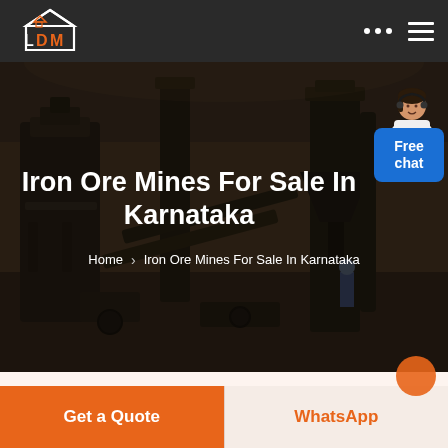LDM
[Figure (photo): Industrial factory interior with large machinery, conveyor equipment, and steel structures, shown with a dark overlay.]
Iron Ore Mines For Sale In Karnataka
Home > Iron Ore Mines For Sale In Karnataka
[Figure (illustration): Customer support avatar: woman in white blazer with headset, next to a blue button labeled 'Free chat']
Get a Quote
WhatsApp